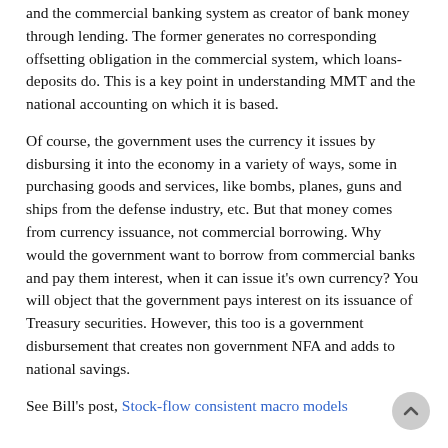and the commercial banking system as creator of bank money through lending. The former generates no corresponding offsetting obligation in the commercial system, which loans-deposits do. This is a key point in understanding MMT and the national accounting on which it is based.
Of course, the government uses the currency it issues by disbursing it into the economy in a variety of ways, some in purchasing goods and services, like bombs, planes, guns and ships from the defense industry, etc. But that money comes from currency issuance, not commercial borrowing. Why would the government want to borrow from commercial banks and pay them interest, when it can issue it's own currency? You will object that the government pays interest on its issuance of Treasury securities. However, this too is a government disbursement that creates non government NFA and adds to national savings.
See Bill's post, Stock-flow consistent macro models